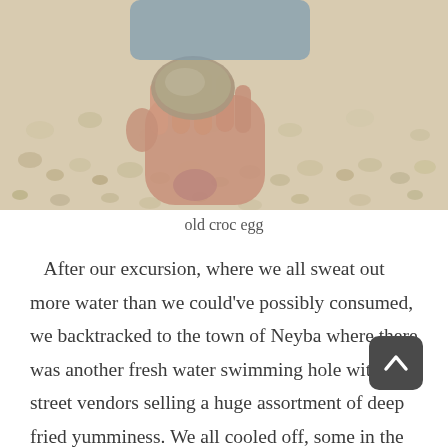[Figure (photo): Child's hand holding an old crocodile egg, standing on a pebbly/rocky ground, wearing purple shoes. Photo taken from above looking down.]
old croc egg
After our excursion, where we all sweat out more water than we could've possibly consumed, we backtracked to the town of Neyba where there was another fresh water swimming hole with street vendors selling a huge assortment of deep fried yumminess. We all cooled off, some in the water, some with cold Presidentes, and Eben got his adrenaline fix by following the locals up a tree overhanging the water, and one-upping them by backflipping off of it into the pool below. I even went swimming here, for two